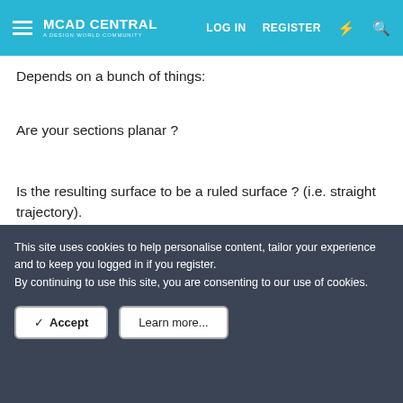MCAD CENTRAL | LOG IN | REGISTER
Depends on a bunch of things:
Are your sections planar ?
Is the resulting surface to be a ruled surface ? (i.e. straight trajectory).
This site uses cookies to help personalise content, tailor your experience and to keep you logged in if you register.
By continuing to use this site, you are consenting to our use of cookies.